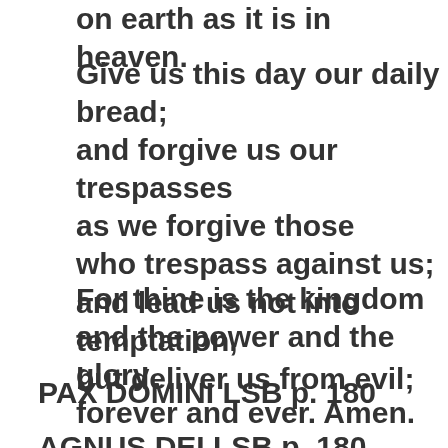on earth as it is in heaven.
Give us this day our daily bread;
and forgive us our trespasses
as we forgive those
who trespass against us;
and lead us not into temptation,
but deliver us from evil;
For thine is the kingdom
and the power and the glory
forever and ever. Amen.
PAX DOMINI LSB p. 180
AGNUS DEI LSB p. 180